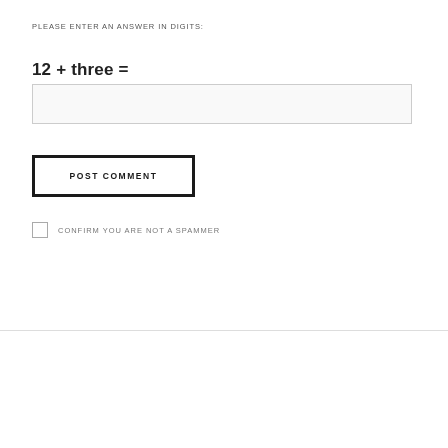PLEASE ENTER AN ANSWER IN DIGITS:
[Figure (other): Empty text input field for entering answer]
[Figure (other): POST COMMENT button with bold black border]
CONFIRM YOU ARE NOT A SPAMMER